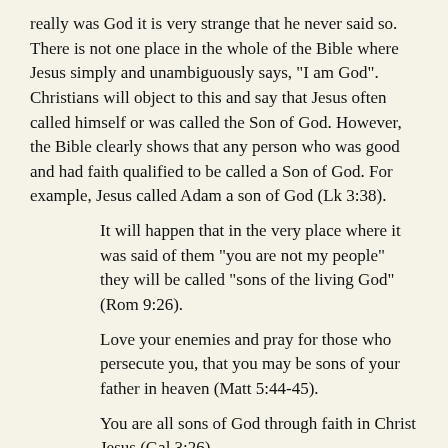really was God it is very strange that he never said so. There is not one place in the whole of the Bible where Jesus simply and unambiguously says, "I am God". Christians will object to this and say that Jesus often called himself or was called the Son of God. However, the Bible clearly shows that any person who was good and had faith qualified to be called a Son of God. For example, Jesus called Adam a son of God (Lk 3:38).
It will happen that in the very place where it was said of them "you are not my people" they will be called "sons of the living God" (Rom 9:26).
Love your enemies and pray for those who persecute you, that you may be sons of your father in heaven (Matt 5:44-45).
You are all sons of God through faith in Christ Jesus (Gal 3:26).
You are God's; you are all sons of the most high (Ps 82:6).
Jesus is called God's 'only begotten son' but even this is not unique. In the Psalms God says to King David...